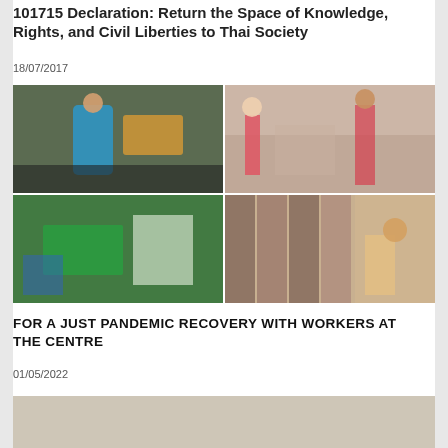101715 Declaration: Return the Space of Knowledge, Rights, and Civil Liberties to Thai Society
18/07/2017
[Figure (photo): A 2x2 grid of four photos: top-left shows a man in blue shirt at a street market/construction area; top-right shows women workers in a garment/textile factory; bottom-left shows a cashier counter scene in a retail store with green decorations; bottom-right shows people at a library or bookstore with shelves.]
FOR A JUST PANDEMIC RECOVERY WITH WORKERS AT THE CENTRE
01/05/2022
[Figure (photo): Partial photo at bottom of page, content not fully visible, appears to be a light-colored image.]